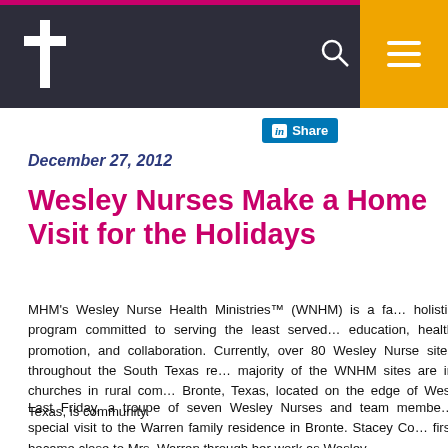Wesley Nurses Make a Home Visit for the Holidays — site header with logo and navigation
December 27, 2012
Wesley Nurses Make a Home Visit for the Holidays
MHM's Wesley Nurse Health Ministries™ (WNHM) is a faith-based holistic program committed to serving the least served through education, health promotion, and collaboration. Currently, there are over 80 Wesley Nurse sites throughout the South Texas region. The majority of the WNHM sites are in churches in rural communities. Bronte, Texas, located on the edge of West Texas, is one such community.
Last Friday, a troupe of seven Wesley Nurses and team members made a special visit to the Warren family residence in Bronte. Stacey Co... first became close to Mrs. Warren through her work as Wesley...